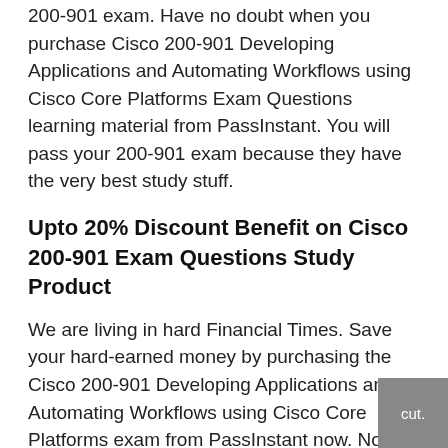200-901 exam. Have no doubt when you purchase Cisco 200-901 Developing Applications and Automating Workflows using Cisco Core Platforms Exam Questions learning material from PassInstant. You will pass your 200-901 exam because they have the very best study stuff.
Upto 20% Discount Benefit on Cisco 200-901 Exam Questions Study Product
We are living in hard Financial Times. Save your hard-earned money by purchasing the Cisco 200-901 Developing Applications and Automating Workflows using Cisco Core Platforms exam from PassInstant now. Now, is the time when you can benefit from a price cut. They have a 20% discount offer for those who are making their Cisco Certified DevNet